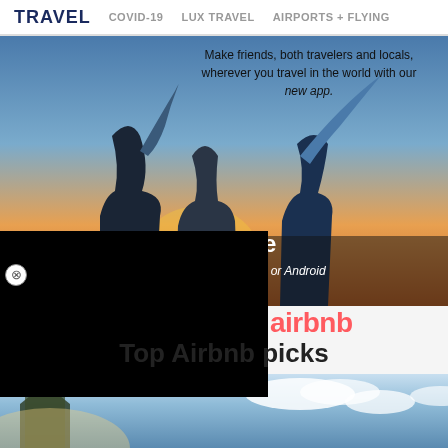TRAVEL  COVID-19  LUX TRAVEL  AIRPORTS + FLYING
[Figure (photo): Travelstoke app advertisement showing two people with arms raised against a sunset sky, with text 'Make friends, both travelers and locals, wherever you travel in the world with our new app.' and 'travelstoke for iOS or Android']
[Figure (screenshot): Black video/media overlay partially covering the travelstoke ad]
airbnb
Top Airbnb picks
[Figure (photo): Bottom image strip showing a building corner/tower against a blue cloudy sky]